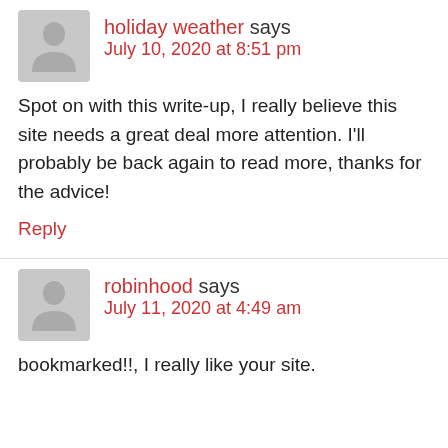holiday weather says
July 10, 2020 at 8:51 pm
Spot on with this write-up, I really believe this site needs a great deal more attention. I'll probably be back again to read more, thanks for the advice!
Reply
robinhood says
July 11, 2020 at 4:49 am
bookmarked!!, I really like your site.